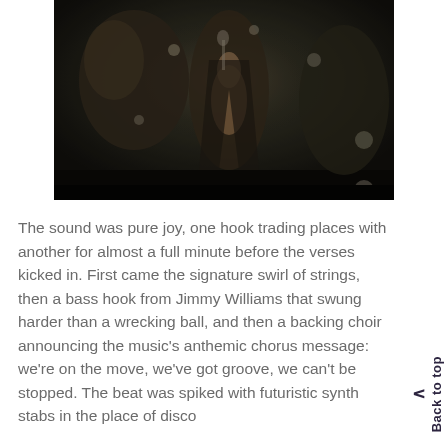[Figure (photo): A grainy, dark video still showing performers on stage. Two figures are visible, one in the center wearing an open jacket. The image is low resolution with a dark background and motion blur.]
The sound was pure joy, one hook trading places with another for almost a full minute before the verses kicked in. First came the signature swirl of strings, then a bass hook from Jimmy Williams that swung harder than a wrecking ball, and then a backing choir announcing the music's anthemic chorus message: we're on the move, we've got groove, we can't be stopped. The beat was spiked with futuristic synth stabs in the place of disco